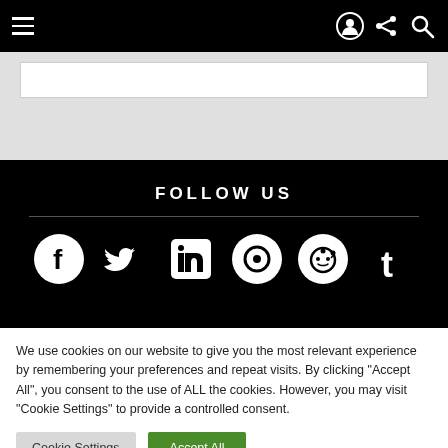Navigation bar with hamburger menu and icons
[Figure (screenshot): Website screenshot showing navigation bar, follow us section with social media icons, and cookie consent banner]
FOLLOW US
We use cookies on our website to give you the most relevant experience by remembering your preferences and repeat visits. By clicking "Accept All", you consent to the use of ALL the cookies. However, you may visit "Cookie Settings" to provide a controlled consent.